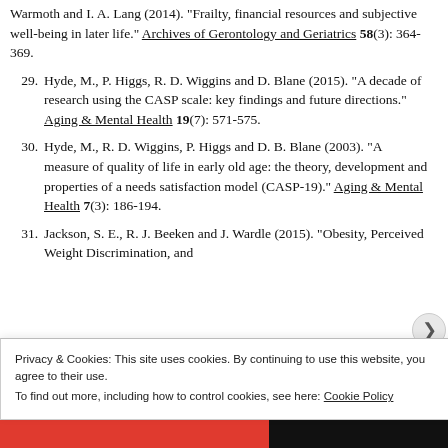Warmoth and I. A. Lang (2014). "Frailty, financial resources and subjective well-being in later life." Archives of Gerontology and Geriatrics 58(3): 364-369.
29. Hyde, M., P. Higgs, R. D. Wiggins and D. Blane (2015). "A decade of research using the CASP scale: key findings and future directions." Aging & Mental Health 19(7): 571-575.
30. Hyde, M., R. D. Wiggins, P. Higgs and D. B. Blane (2003). "A measure of quality of life in early old age: the theory, development and properties of a needs satisfaction model (CASP-19)." Aging & Mental Health 7(3): 186-194.
31. Jackson, S. E., R. J. Beeken and J. Wardle (2015). "Obesity, Perceived Weight Discrimination, and
Privacy & Cookies: This site uses cookies. By continuing to use this website, you agree to their use. To find out more, including how to control cookies, see here: Cookie Policy